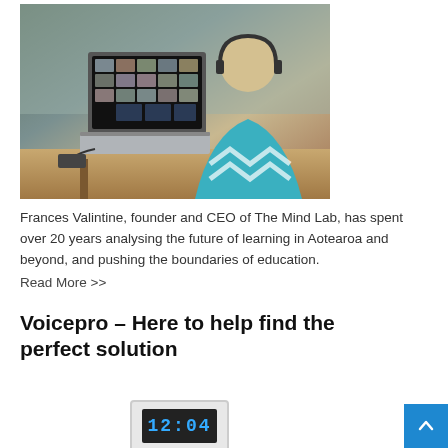[Figure (photo): Person wearing headset seen from behind, sitting in front of a laptop showing a video conference grid of participants. The person wears a teal/turquoise top with chevron pattern. Background includes office furniture.]
Frances Valintine, founder and CEO of The Mind Lab, has spent over 20 years analysing the future of learning in Aotearoa and beyond, and pushing the boundaries of education.
Read More >>
Voicepro – Here to help find the perfect solution
[Figure (photo): Digital clock display showing 12:04]